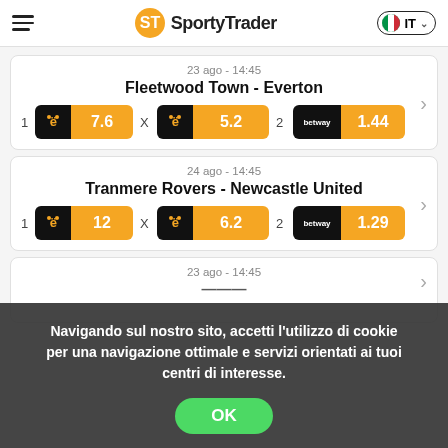SportyTrader — IT
23 ago - 14:45
Fleetwood Town - Everton
1: 7.6 | X: 5.2 | 2: 1.44
24 ago - 14:45
Tranmere Rovers - Newcastle United
1: 12 | X: 6.2 | 2: 1.29
23 ago - 14:45
Navigando sul nostro sito, accetti l'utilizzo di cookie per una navigazione ottimale e servizi orientati ai tuoi centri di interesse.